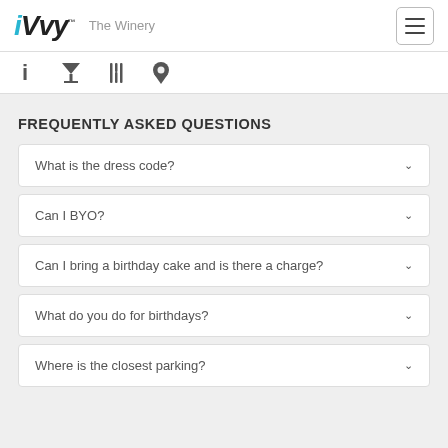iVvy™ The Winery
[Figure (screenshot): Navigation icon bar with info (i), cocktail glass, fork/knife, and location pin icons]
FREQUENTLY ASKED QUESTIONS
What is the dress code?
Can I BYO?
Can I bring a birthday cake and is there a charge?
What do you do for birthdays?
Where is the closest parking?